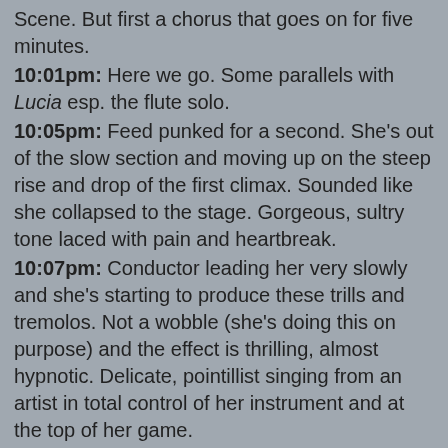Scene. But first a chorus that goes on for five minutes.
10:01pm: Here we go. Some parallels with Lucia esp. the flute solo.
10:05pm: Feed punked for a second. She's out of the slow section and moving up on the steep rise and drop of the first climax. Sounded like she collapsed to the stage. Gorgeous, sultry tone laced with pain and heartbreak.
10:07pm: Conductor leading her very slowly and she's starting to produce these trills and tremolos. Not a wobble (she's doing this on purpose) and the effect is thrilling, almost hypnotic. Delicate, pointillist singing from an artist in total control of her instrument and at the top of her game.
10:10pm: Top deck for the a capella trope. Down the stairs, THERE's the big high note up at the top and and out of the aria. BRAVA!
10:11pm: The house being brought down. That was pretty + awesome = pretty awesome.
10:12pm: OK. Last scene.
10:22pm: My Internet ganked. Just went down completely. Got to catch the last bits of the final scene but not really the very last aria. Caught the last minute with some impressive, fiery singing from La Netrebko but not enough musical